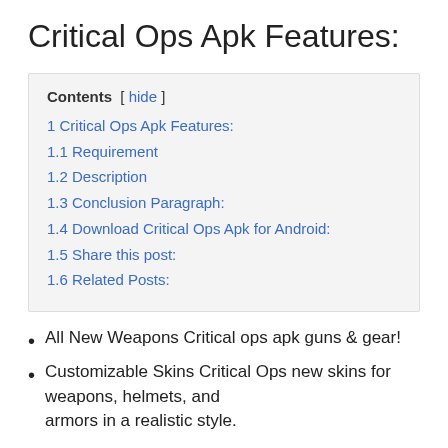Critical Ops Apk Features:
All New Weapons Critical ops apk guns & gear!
Customizable Skins Critical Ops new skins for weapons, helmets, and armors in a realistic style.